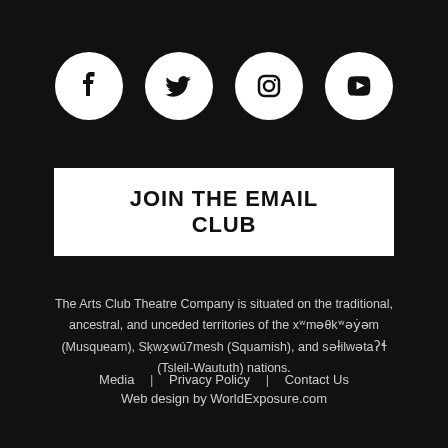[Figure (illustration): Four white social media icons (Facebook, Twitter, Instagram, YouTube) in white circles on black background]
JOIN THE EMAIL CLUB
The Arts Club Theatre Company is situated on the traditional, ancestral, and unceded territories of the xʷməθkʷəy̓əm (Musqueam), Sḵwx̱wú7mesh (Squamish), and səlilwətaɬ (Tsleil-Waututh) nations.
Media  |  Privacy Policy  |  Contact Us
Web design by WorldExposure.com